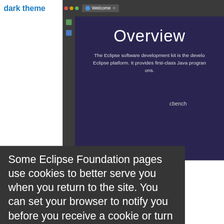dark theme
[Figure (screenshot): Eclipse IDE Welcome screen showing 'Overview' title on dark purple background with sidebar icons and tab bar]
Some Eclipse Foundation pages use cookies to better serve you when you return to the site. You can set your browser to notify you before you receive a cookie or turn off cookies. If you do so, however, some areas of some sites may not function properly. To read Eclipse Foundation Privacy Policy click here.
Decline
Allow cookies
General Updates